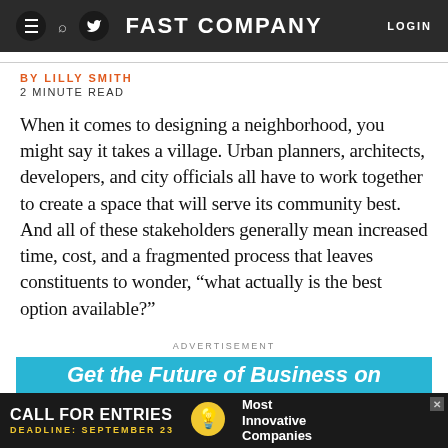FAST COMPANY — LOGIN
BY LILLY SMITH
2 MINUTE READ
When it comes to designing a neighborhood, you might say it takes a village. Urban planners, architects, developers, and city officials all have to work together to create a space that will serve its community best. And all of these stakeholders generally mean increased time, cost, and a fragmented process that leaves constituents to wonder, “what actually is the best option available?”
ADVERTISEMENT
[Figure (screenshot): Blue advertisement banner with text 'Get the Future of Business on']
[Figure (screenshot): Bottom dark advertisement bar: CALL FOR ENTRIES DEADLINE: SEPTEMBER 23, Most Innovative Companies with lightbulb icon]